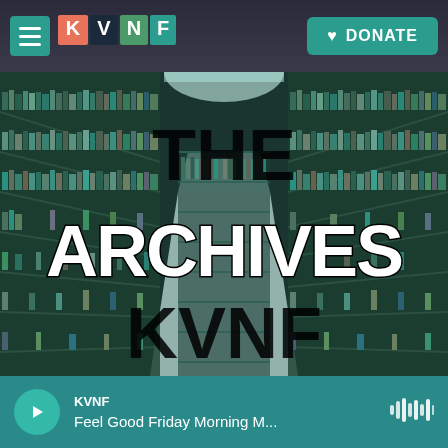KVNF - DONATE
[Figure (screenshot): The Archives KVNF - image of library shelves filled with media, with large text overlay reading THE ARCHIVES KVNF]
KVNF - Feel Good Friday Morning M...